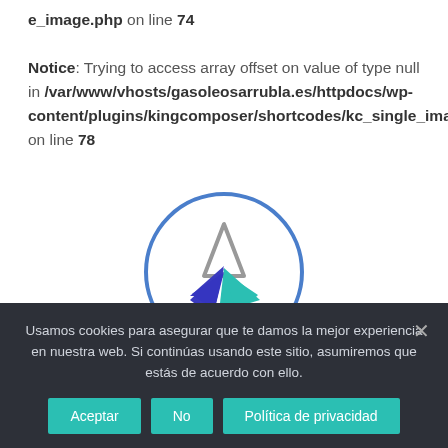e_image.php on line 74

Notice: Trying to access array offset on value of type null in /var/www/vhosts/gasoleosarrubla.es/httpdocs/wp-content/plugins/kingcomposer/shortcodes/kc_single_image.php on line 78
[Figure (logo): Circular logo with a stylized arrow/boat shape inside — gray triangle top, dark blue and cyan arrow shapes below, inside a blue circle outline.]
Usamos cookies para asegurar que te damos la mejor experiencia en nuestra web. Si continúas usando este sitio, asumiremos que estás de acuerdo con ello.
Aceptar | No | Política de privacidad